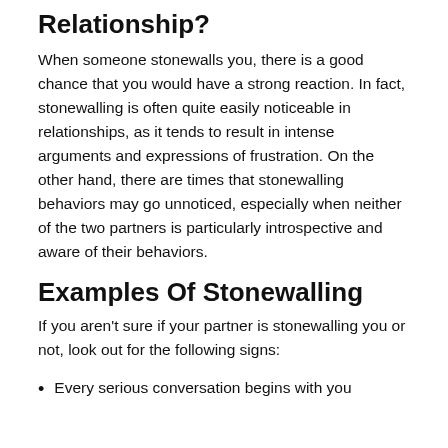Relationship?
When someone stonewalls you, there is a good chance that you would have a strong reaction. In fact, stonewalling is often quite easily noticeable in relationships, as it tends to result in intense arguments and expressions of frustration. On the other hand, there are times that stonewalling behaviors may go unnoticed, especially when neither of the two partners is particularly introspective and aware of their behaviors.
Examples Of Stonewalling
If you aren’t sure if your partner is stonewalling you or not, look out for the following signs:
Every serious conversation begins with you